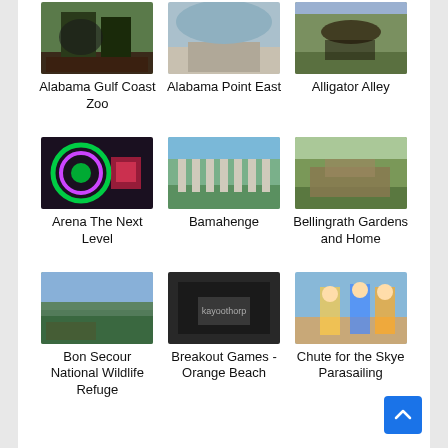[Figure (photo): Thumbnail photo for Alabama Gulf Coast Zoo]
Alabama Gulf Coast Zoo
[Figure (photo): Thumbnail photo for Alabama Point East]
Alabama Point East
[Figure (photo): Thumbnail photo for Alligator Alley]
Alligator Alley
[Figure (photo): Thumbnail photo for Arena The Next Level]
Arena The Next Level
[Figure (photo): Thumbnail photo for Bamahenge]
Bamahenge
[Figure (photo): Thumbnail photo for Bellingrath Gardens and Home]
Bellingrath Gardens and Home
[Figure (photo): Thumbnail photo for Bon Secour National Wildlife Refuge]
Bon Secour National Wildlife Refuge
[Figure (photo): Thumbnail photo for Breakout Games - Orange Beach]
Breakout Games - Orange Beach
[Figure (photo): Thumbnail photo for Chute for the Skye Parasailing]
Chute for the Skye Parasailing